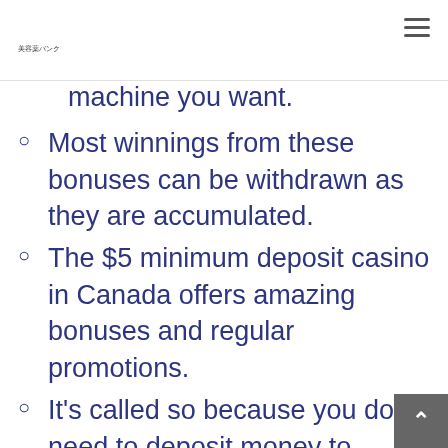美容薬バンク
machine you want.
Most winnings from these bonuses can be withdrawn as they are accumulated.
The $5 minimum deposit casino in Canada offers amazing bonuses and regular promotions.
It's called so because you don't need to deposit money to receive it.
$5 minimum deposit casino UK sites gi...